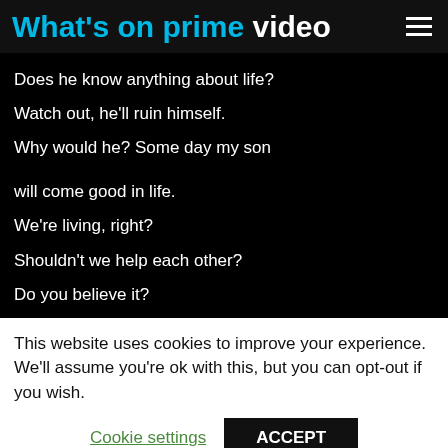What's on prime video
Does he know anything about life?
Watch out, he'll ruin himself.
Why would he? Some day my son

will come good in life.
We're living, right?
Shouldn't we help each other?
Do you believe it?
This website uses cookies to improve your experience. We'll assume you're ok with this, but you can opt-out if you wish.
Cookie settings   ACCEPT